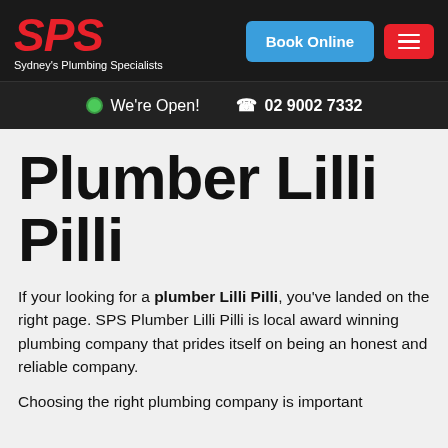SPS Sydney's Plumbing Specialists | Book Online | [menu icon]
We're Open! | 02 9002 7332
Plumber Lilli Pilli
If your looking for a plumber Lilli Pilli, you've landed on the right page. SPS Plumber Lilli Pilli is local award winning plumbing company that prides itself on being an honest and reliable company.
Choosing the right plumbing company is important